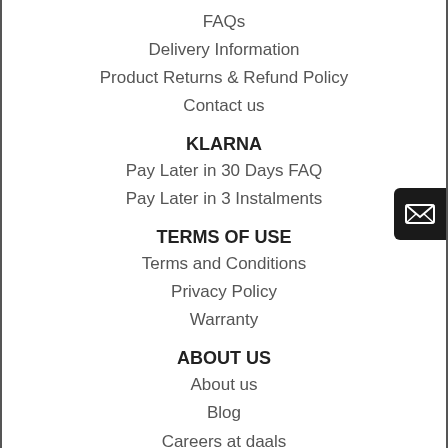FAQs
Delivery Information
Product Returns & Refund Policy
Contact us
KLARNA
Pay Later in 30 Days FAQ
Pay Later in 3 Instalments
TERMS OF USE
Terms and Conditions
Privacy Policy
Warranty
ABOUT US
About us
Blog
Careers at daals